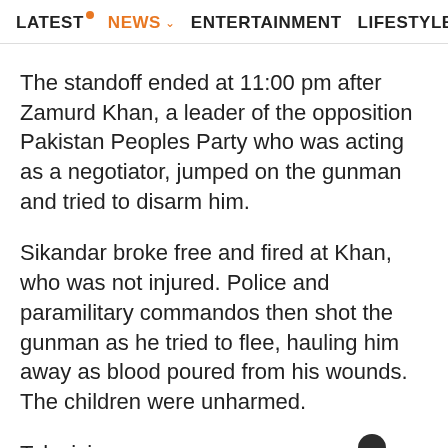LATEST NEWS ENTERTAINMENT LIFESTYLE EC>
The standoff ended at 11:00 pm after Zamurd Khan, a leader of the opposition Pakistan Peoples Party who was acting as a negotiator, jumped on the gunman and tried to disarm him.
Sikandar broke free and fired at Khan, who was not injured. Police and paramilitary commandos then shot the gunman as he tried to flee, hauling him away as blood poured from his wounds. The children were unharmed.
Televisi... ying to rush... out Khan h...
Which of the following statements best describe your plans for the rest of the year? Reply